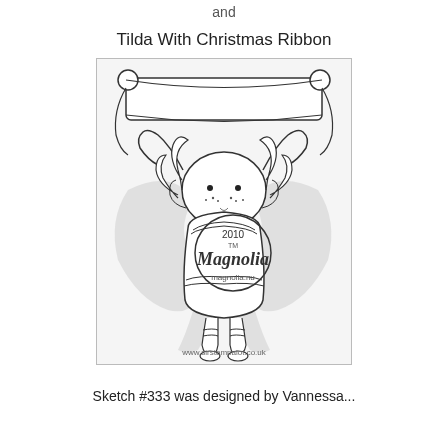and
Tilda With Christmas Ribbon
[Figure (illustration): Line art illustration of a Magnolia Tilda doll character holding a Christmas ribbon/banner above her head with both hands. The character has curly hair, freckles, and is wearing a ruffled outfit with striped stockings. A large Christmas bow/ribbon is visible behind her. A Magnolia 2010 watermark/stamp logo is overlaid on the center of the image. Website URL www.sirstampalot.co.uk is printed at the bottom of the image. The image is framed with a thin border.]
Sketch #333 was designed by Vannessa...